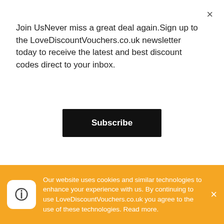Join UsNever miss a great deal again.Sign up to the LoveDiscountVouchers.co.uk newsletter today to receive the latest and best discount codes direct to your inbox.
Subscribe
Locksmith Keyless International Delivery Information
Our discount savvy team have identified that Locksmith Keyless deliver their products to Australia, New Zealand, United Kingdom, Ireland, Hong Kong, Canada, USA, Argentina, Austria, Belgium, Brazil, Bulgaria, Chile, China
Our website uses cookies and similar technologies to enhance your experience with us. By continuing to use LoveDiscountVouchers.co.uk you agree to the use of these technologies. Read more.